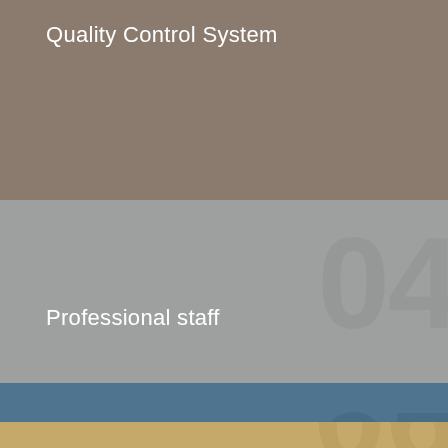Quality Control System
04
Professional staff
05
Transparency of financial statements
06